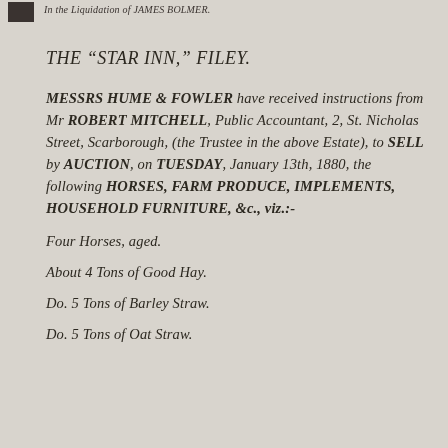In the Liquidation of JAMES BOLMER.
THE “STAR INN,” FILEY.
MESSRS HUME & FOWLER have received instructions from Mr ROBERT MITCHELL, Public Accountant, 2, St. Nicholas Street, Scarborough, (the Trustee in the above Estate), to SELL by AUCTION, on TUESDAY, January 13th, 1880, the following HORSES, FARM PRODUCE, IMPLEMENTS, HOUSEHOLD FURNITURE, &c., viz.:-
Four Horses, aged.
About 4 Tons of Good Hay.
Do. 5 Tons of Barley Straw.
Do. 5 Tons of Oat Straw.